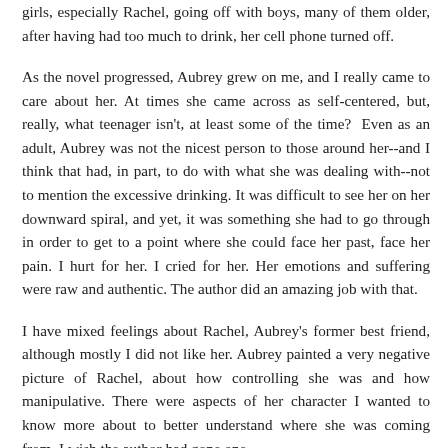girls, especially Rachel, going off with boys, many of them older, after having had too much to drink, her cell phone turned off.
As the novel progressed, Aubrey grew on me, and I really came to care about her. At times she came across as self-centered, but, really, what teenager isn't, at least some of the time?  Even as an adult, Aubrey was not the nicest person to those around her--and I think that had, in part, to do with what she was dealing with--not to mention the excessive drinking. It was difficult to see her on her downward spiral, and yet, it was something she had to go through in order to get to a point where she could face her past, face her pain. I hurt for her. I cried for her. Her emotions and suffering were raw and authentic. The author did an amazing job with that.
I have mixed feelings about Rachel, Aubrey's former best friend, although mostly I did not like her. Aubrey painted a very negative picture of Rachel, about how controlling she was and how manipulative. There were aspects of her character I wanted to know more about to better understand where she was coming from. I wish the author had gone one